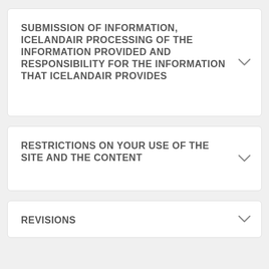SUBMISSION OF INFORMATION, Icelandair PROCESSING OF THE INFORMATION PROVIDED AND RESPONSIBILITY FOR THE INFORMATION THAT ICELANDAIR PROVIDES
RESTRICTIONS ON YOUR USE OF THE SITE AND THE CONTENT
REVISIONS